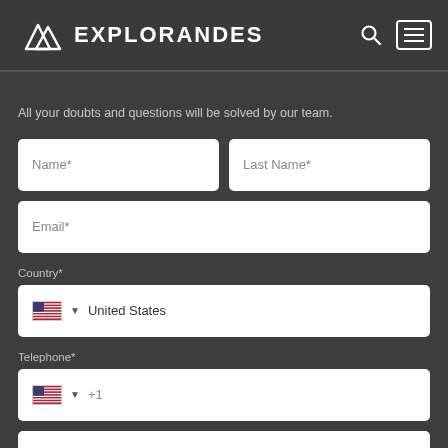EXPLORANDES
All your doubts and questions will be solved by our team.
[Figure (screenshot): Contact form with fields: Name, Last Name, Email, Country (United States), Telephone (+1), Number of Travelers, and a partially visible field at bottom]